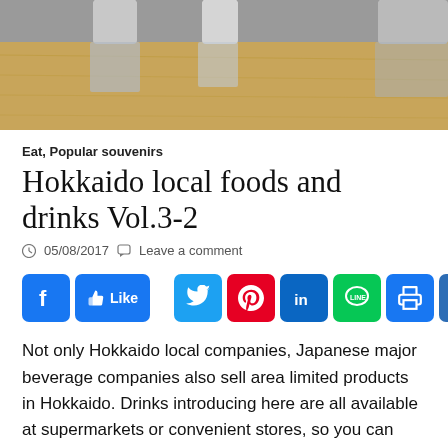[Figure (photo): Photo of bottles/drinks on a wooden surface with gray top portion visible]
Eat, Popular souvenirs
Hokkaido local foods and drinks Vol.3-2
05/08/2017   Leave a comment
[Figure (infographic): Social media sharing buttons: Facebook, Like, Twitter, Pinterest, LinkedIn, LINE, Print, Share]
Not only Hokkaido local companies, Japanese major beverage companies also sell area limited products in Hokkaido. Drinks introducing here are all available at supermarkets or convenient stores, so you can enjoy them at the hotel room during travel or even bring back to your home country as one